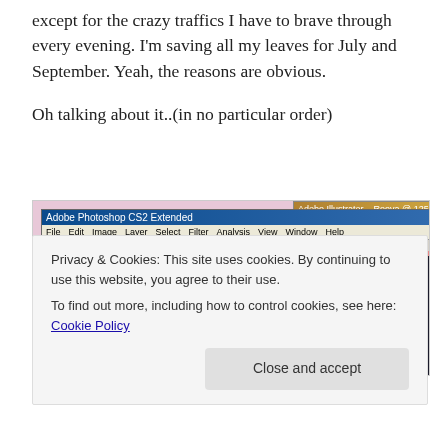except for the crazy traffics I have to brave through every evening. I'm saving all my leaves for July and September. Yeah, the reasons are obvious.

Oh talking about it..(in no particular order)
[Figure (screenshot): Screenshot of Adobe Photoshop CS2 Extended application window showing a design project with pink and purple rectangular color swatches and decorative floral/damask ornament graphics on a light purple background.]
Privacy & Cookies: This site uses cookies. By continuing to use this website, you agree to their use.
To find out more, including how to control cookies, see here: Cookie Policy
Close and accept